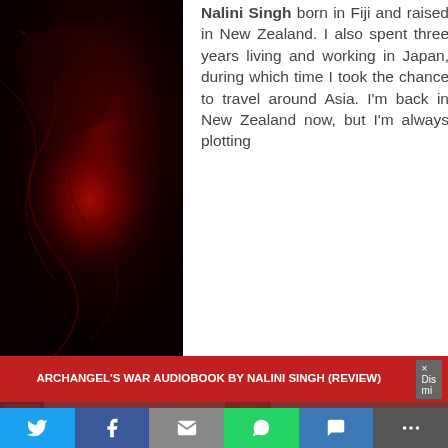[Figure (illustration): Dark red/crimson artistic background with swirling smoke and glowing red orb shapes on left side, mirrored on right side, flanking a white central content column]
Nalini Singh born in Fiji and raised in New Zealand. I also spent three years living and working in Japan, during which time I took the chance to travel around Asia. I'm back in New Zealand now, but I'm always plotting
This website uses cookies to track the number of visitors to the
ARCHANGEL'S WAR AUDIOBOOK BY NALINI SINGH (REVIEW)
If you wish  Accept  PRIVACY POLICY  This blog is for
Risk It All Audiobook by
Nethi